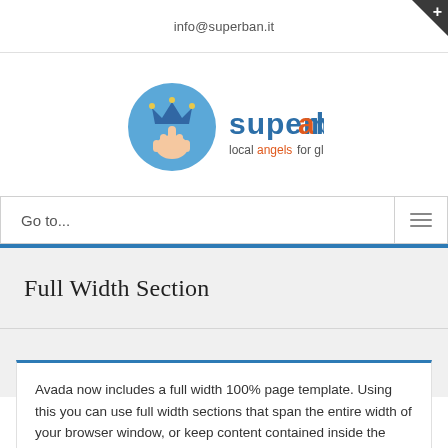info@superban.it
[Figure (logo): Superban logo: circular blue icon with hand pointing upward and a crown, next to 'superban' text in blue and orange with tagline 'local angels for global startups']
Go to...
Full Width Section
Avada now includes a full width 100% page template. Using this you can use full width sections that span the entire width of your browser window, or keep content contained inside the 960px width. Header and sections that